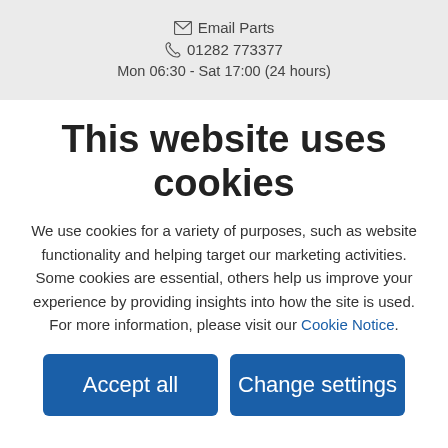Email Parts
01282 773377
Mon 06:30 - Sat 17:00 (24 hours)
This website uses cookies
We use cookies for a variety of purposes, such as website functionality and helping target our marketing activities. Some cookies are essential, others help us improve your experience by providing insights into how the site is used. For more information, please visit our Cookie Notice.
Accept all
Change settings